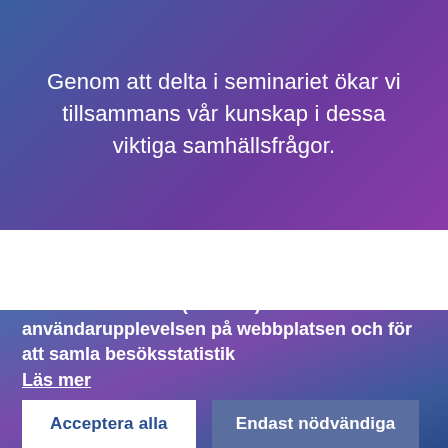Genom att delta i seminariet ökar vi tillsammans vår kunskap i dessa viktiga samhällsfrågor.
Vi använder kakor (cookies) för att förbättra användarupplevelsen på webbplatsen och för att samla besöksstatistik
Läs mer
Acceptera alla
Endast nödvändiga